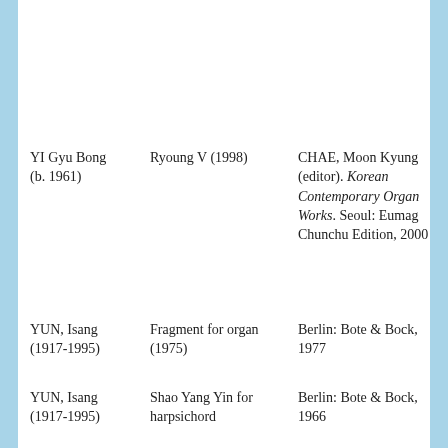YI Gyu Bong (b. 1961)
Ryoung V (1998)
CHAE, Moon Kyung (editor). Korean Contemporary Organ Works. Seoul: Eumag Chunchu Edition, 2000
YUN, Isang (1917-1995)
Fragment for organ (1975)
Berlin: Bote & Bock, 1977
YUN, Isang (1917-1995)
Shao Yang Yin for harpsichord
Berlin: Bote & Bock, 1966